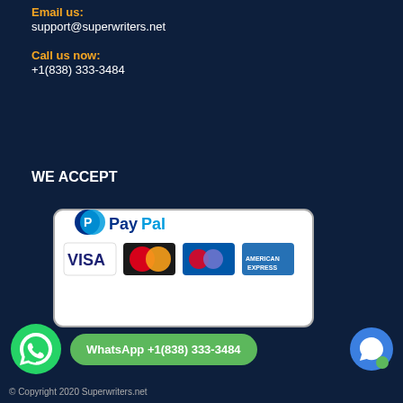Email us:
support@superwriters.net
Call us now:
+1(838) 333-3484
WE ACCEPT
[Figure (infographic): Payment methods accepted: PayPal, Visa, MasterCard, Maestro, American Express logos inside a rounded rectangle border]
WhatsApp +1(838) 333-3484
© Copyright 2020 Superwriters.net